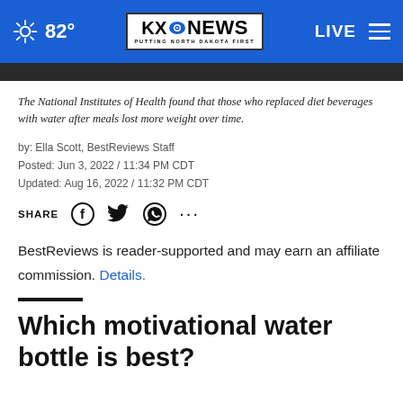82° KXO NEWS PUTTING NORTH DAKOTA FIRST LIVE
The National Institutes of Health found that those who replaced diet beverages with water after meals lost more weight over time.
by: Ella Scott, BestReviews Staff
Posted: Jun 3, 2022 / 11:34 PM CDT
Updated: Aug 16, 2022 / 11:32 PM CDT
SHARE [Facebook] [Twitter] [WhatsApp] [...]
BestReviews is reader-supported and may earn an affiliate commission. Details.
Which motivational water bottle is best?